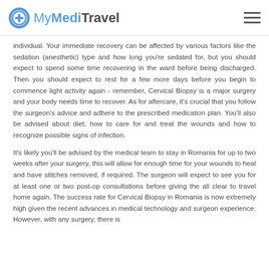MyMediTravel
individual. Your immediate recovery can be affected by various factors like the sedation (anesthetic) type and how long you're sedated for, but you should expect to spend some time recovering in the ward before being discharged. Then you should expect to rest for a few more days before you begin to commence light activity again - remember, Cervical Biopsy is a major surgery and your body needs time to recover. As for aftercare, it's crucial that you follow the surgeon's advice and adhere to the prescribed medication plan. You'll also be advised about diet, how to care for and treat the wounds and how to recognize possible signs of infection.
It's likely you'll be advised by the medical team to stay in Romania for up to two weeks after your surgery, this will allow for enough time for your wounds to heal and have stitches removed, if required. The surgeon will expect to see you for at least one or two post-op consultations before giving the all clear to travel home again. The success rate for Cervical Biopsy in Romania is now extremely high given the recent advances in medical technology and surgeon experience. However, with any surgery, there is always a possibility of complications and it is advisable to discuss these with your surgeon prior to the procedure.